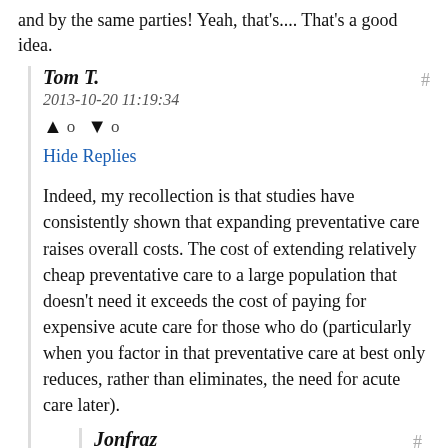and by the same parties! Yeah, that's.... That's a good idea.
Tom T.
2013-10-20 11:19:34
↑ 0 ↓ 0
Hide Replies
Indeed, my recollection is that studies have consistently shown that expanding preventative care raises overall costs. The cost of extending relatively cheap preventative care to a large population that doesn't need it exceeds the cost of paying for expensive acute care for those who do (particularly when you factor in that preventative care at best only reduces, rather than eliminates, the need for acute care later).
Jonfraz
2013-10-20 11:55:50
↑ 0 ↓ 0